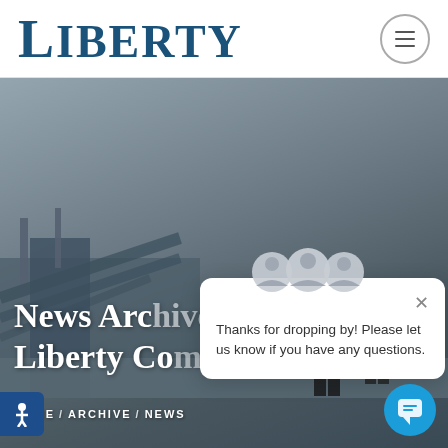LIBERTY
[Figure (screenshot): Hero background image showing two people in black wetsuits standing near a waterfront or harbor area with structures visible, overlaid with dark tint]
News Archives - Liberty Company
HOME / ARCHIVE / NEWS
[Figure (infographic): Chat popup overlay with three avatar icons at top, close X button, and message: Thanks for dropping by! Please let us know if you have any questions.]
Thanks for dropping by! Please let us know if you have any questions.